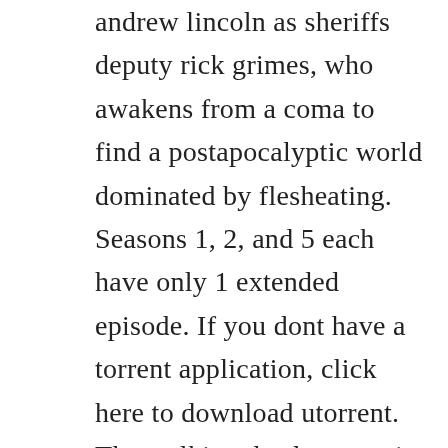andrew lincoln as sheriffs deputy rick grimes, who awakens from a coma to find a postapocalyptic world dominated by flesheating. Seasons 1, 2, and 5 each have only 1 extended episode. If you dont have a torrent application, click here to download utorrent. The walking dead season 1 is a horror game and published by telltale games released on 24 april, 2012 and designed for microsoft windows. The walking dead saison 8 vostfr eng oct 24th creee parrobert kirkman 2010 avecandrew lincoln, norman reedus, jeffrey dean morgan plus